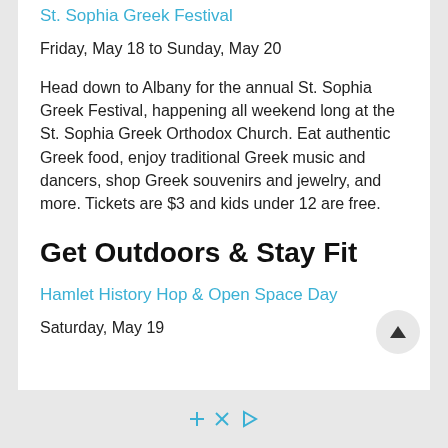St. Sophia Greek Festival
Friday, May 18 to Sunday, May 20
Head down to Albany for the annual St. Sophia Greek Festival, happening all weekend long at the St. Sophia Greek Orthodox Church. Eat authentic Greek food, enjoy traditional Greek music and dancers, shop Greek souvenirs and jewelry, and more. Tickets are $3 and kids under 12 are free.
Get Outdoors & Stay Fit
Hamlet History Hop & Open Space Day
Saturday, May 19